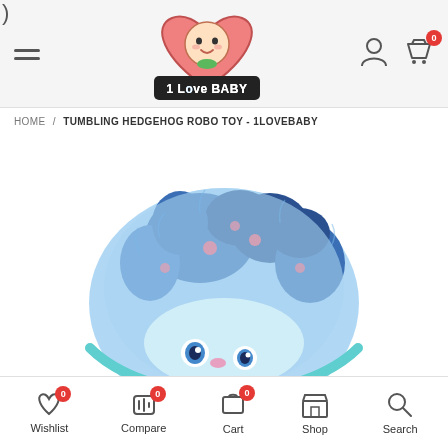1 Love Baby — site header with hamburger menu, logo, user icon, and cart icon with badge 0
HOME / TUMBLING HEDGEHOG ROBO TOY - 1LOVEBABY
[Figure (photo): Blue fluffy hedgehog robo toy stuffed animal, shown curled up, with blue and dark blue fur with pink spots, teal outline trim, and a cartoon face with big eyes. Only the upper portion is visible.]
Wishlist 0 | Compare 0 | Cart 0 | Shop | Search